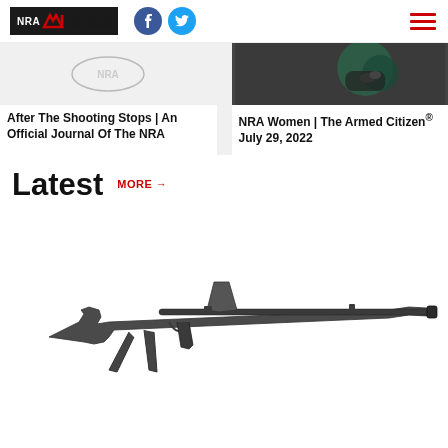NRA American Rifleman
[Figure (screenshot): Article card with light background showing NRA logo watermark: After The Shooting Stops | An Official Journal Of The NRA]
After The Shooting Stops | An Official Journal Of The NRA
[Figure (photo): Article card with dark background showing hands — NRA Women | The Armed Citizen® July 29, 2022]
NRA Women | The Armed Citizen® July 29, 2022
Latest MORE →
[Figure (photo): Photo of a military-style machine gun (appears to be a Boys Anti-Tank Rifle or similar heavy rifle/machine gun) on white background, shown from the side]